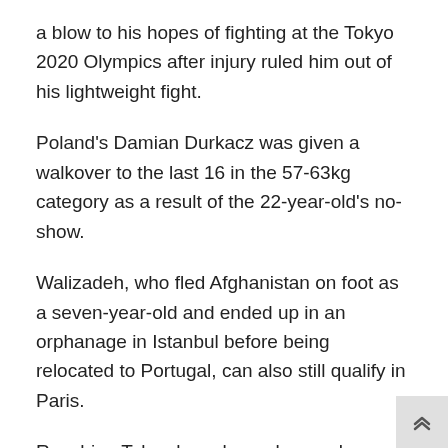a blow to his hopes of fighting at the Tokyo 2020 Olympics after injury ruled him out of his lightweight fight.
Poland's Damian Durkacz was given a walkover to the last 16 in the 57-63kg category as a result of the 22-year-old's no-show.
Walizadeh, who fled Afghanistan on foot as a seven-year-old and ended up in an orphanage in Istanbul before being relocated to Portugal, can also still qualify in Paris.
Reaching Tokyo has always been a long shot, however, for the youngster who received a scholarship from the International Olympic Committee (IOC) last March to train full-time.
“When boxing, I can totally get focused in what I’m doing